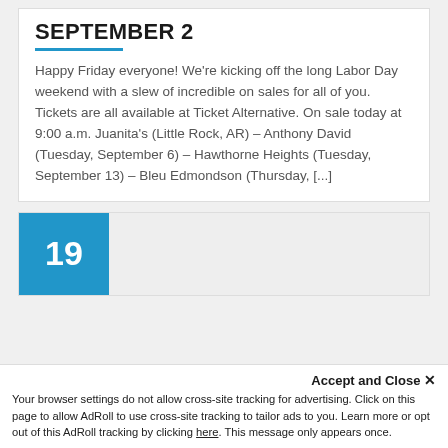SEPTEMBER 2
Happy Friday everyone! We're kicking off the long Labor Day weekend with a slew of incredible on sales for all of you. Tickets are all available at Ticket Alternative. On sale today at 9:00 a.m. Juanita's (Little Rock, AR) – Anthony David (Tuesday, September 6) – Hawthorne Heights (Tuesday, September 13) – Bleu Edmondson (Thursday, [...]
19
Accept and Close ✕
Your browser settings do not allow cross-site tracking for advertising. Click on this page to allow AdRoll to use cross-site tracking to tailor ads to you. Learn more or opt out of this AdRoll tracking by clicking here. This message only appears once.